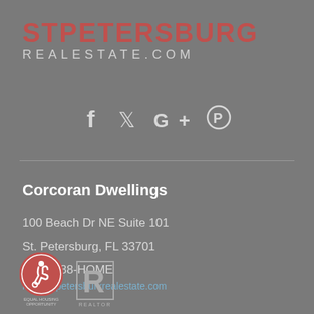STPETERSBURG REALESTATE.COM
[Figure (illustration): Social media icons: Facebook, Twitter, Google+, Pinterest]
Corcoran Dwellings
100 Beach Dr NE Suite 101
St. Petersburg, FL 33701
(727) 888-HOME
info@stpetersburkrealestate.com
[Figure (logo): Equal Housing Opportunity logo and Realtor logo badges]